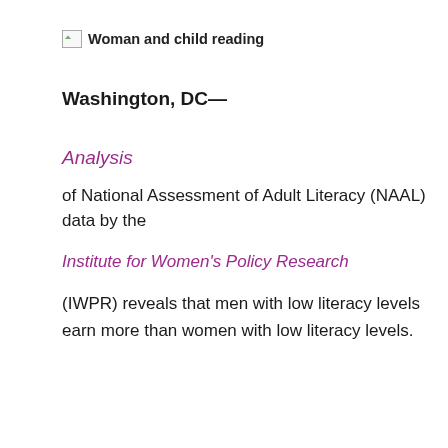[Figure (photo): Broken image placeholder with alt text 'Woman and child reading']
Washington, DC—
Analysis
of National Assessment of Adult Literacy (NAAL) data by the
Institute for Women's Policy Research
(IWPR) reveals that men with low literacy levels earn more than women with low literacy levels.